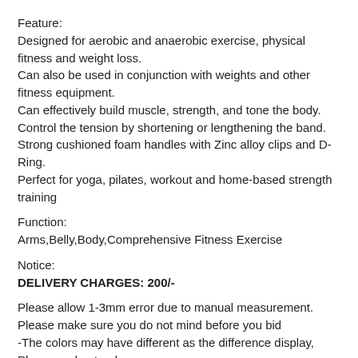Feature:
Designed for aerobic and anaerobic exercise, physical fitness and weight loss.
Can also be used in conjunction with weights and other fitness equipment.
Can effectively build muscle, strength, and tone the body.
Control the tension by shortening or lengthening the band.
Strong cushioned foam handles with Zinc alloy clips and D-Ring.
Perfect for yoga, pilates, workout and home-based strength training
Function:
Arms,Belly,Body,Comprehensive Fitness Exercise
Notice:
DELIVERY CHARGES: 200/-
Please allow 1-3mm error due to manual measurement. Please make sure you do not mind before you bid
-The colors may have different as the difference display, Please understand.
•
Package Included: